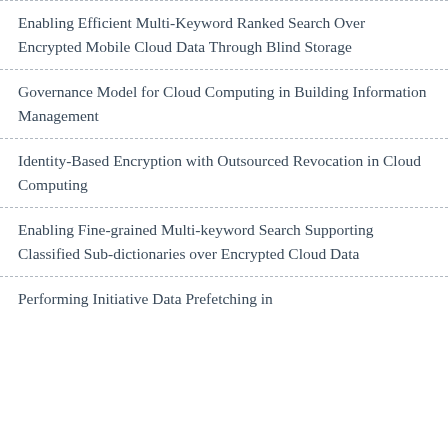Enabling Efficient Multi-Keyword Ranked Search Over Encrypted Mobile Cloud Data Through Blind Storage
Governance Model for Cloud Computing in Building Information Management
Identity-Based Encryption with Outsourced Revocation in Cloud Computing
Enabling Fine-grained Multi-keyword Search Supporting Classified Sub-dictionaries over Encrypted Cloud Data
Performing Initiative Data Prefetching in